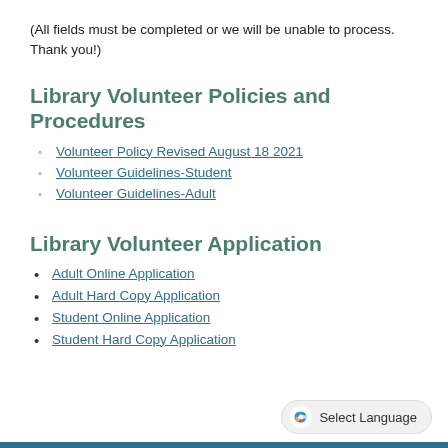(All fields must be completed or we will be unable to process. Thank you!)
Library Volunteer Policies and Procedures
Volunteer Policy Revised August 18 2021
Volunteer Guidelines-Student
Volunteer Guidelines-Adult
Library Volunteer Application
Adult Online Application
Adult Hard Copy Application
Student Online Application
Student Hard Copy Application